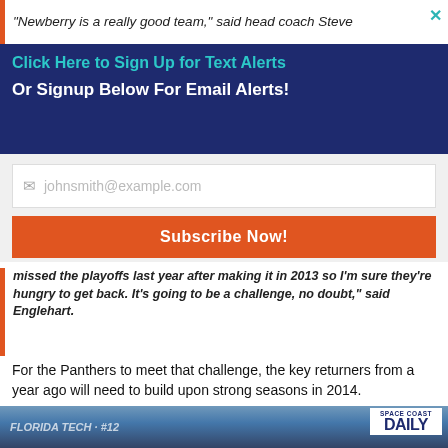“Newberry is a really good team,” said head coach Steve
Click Here to Sign Up for Text Alerts
Or Signup Below For Email Alerts!
johnsmith@example.com
Subscribe Now!
missed the playoffs last year after making it in 2013 so I’m sure they’re hungry to get back. It’s going to be a challenge, no doubt,” said Englehart.
For the Panthers to meet that challenge, the key returners from a year ago will need to build upon strong seasons in 2014.
[Figure (photo): Football player wearing Florida Tech jersey number 12 on the field, with Space Coast Daily logo in upper right corner]